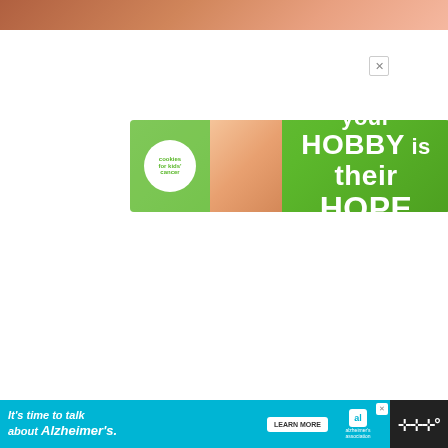[Figure (photo): Top portion of a photo showing hands or skin, cropped at top of page]
[Figure (infographic): Green advertisement banner: cookies for kids cancer — 'your HOBBY is their HOPE']
[Figure (illustration): Blue circular heart/favorite button icon]
[Figure (illustration): White circular share button icon]
[Figure (screenshot): WHAT'S NEXT panel showing '90 Simple & Easy Nail...' with thumbnail of nail art]
[Figure (infographic): Bottom advertisement: It's time to talk about Alzheimer's — Learn More button — Alzheimer's Association logo]
[Figure (logo): Right side dark logo — stylized W with dots (brand watermark)]